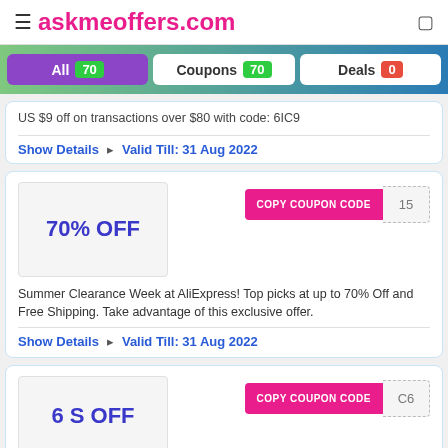askmeoffers.com
All 70   Coupons 70   Deals 0
US $9 off on transactions over $80 with code: 6IC9
Show Details  ▸  Valid Till: 31 Aug 2022
[Figure (screenshot): Coupon card showing 70% OFF with COPY COUPON CODE button and code ending in 15]
Summer Clearance Week at AliExpress! Top picks at up to 70% Off and Free Shipping. Take advantage of this exclusive offer.
Show Details  ▸  Valid Till: 31 Aug 2022
[Figure (screenshot): Coupon card showing 6 S OFF with COPY COUPON CODE button and code ending in C6]